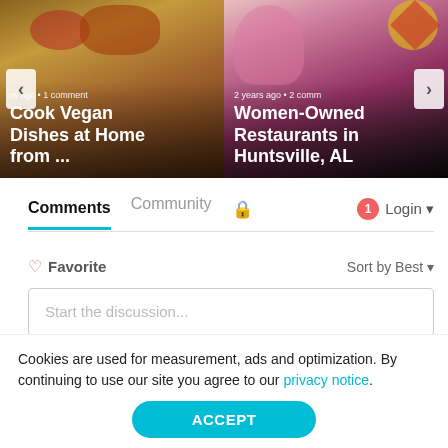[Figure (screenshot): Carousel showing two article cards: 'Cook Vegan Dishes at Home from ...' (with food photo background, rs ago, 1 comment) and 'Women-Owned Restaurants in Huntsville, AL' (with people photo background, 2 years ago, 2 comm). Left and right navigation arrows visible.]
Comments	Community	[lock icon]	[1 notification]	Login
♡ Favorite	Sort by Best
Start the discussion...
Cookies are used for measurement, ads and optimization. By continuing to use our site you agree to our privacy notice.
ACCEPT